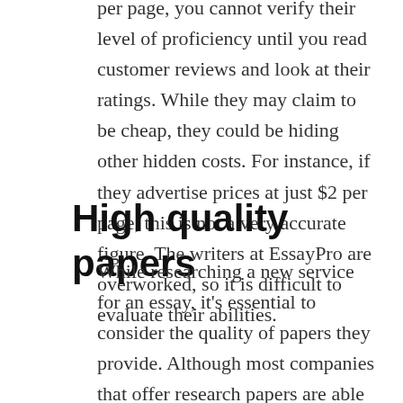per page, you cannot verify their level of proficiency until you read customer reviews and look at their ratings. While they may claim to be cheap, they could be hiding other hidden costs. For instance, if they advertise prices at just $2 per page, this is not a very accurate figure. The writers at EssayPro are overworked, so it is difficult to evaluate their abilities.
High quality papers
While researching a new service for an essay, it's essential to consider the quality of papers they provide. Although most companies that offer research papers are able to provide high quality work, their prices can vary greatly. You can use the cost as a guide to compare different essay platforms, but keep in mind that a lower price